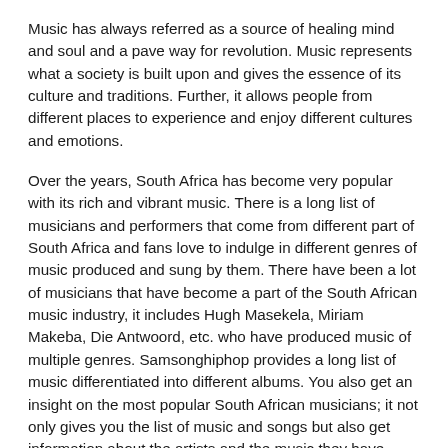Music has always referred as a source of healing mind and soul and a pave way for revolution. Music represents what a society is built upon and gives the essence of its culture and traditions. Further, it allows people from different places to experience and enjoy different cultures and emotions.
Over the years, South Africa has become very popular with its rich and vibrant music. There is a long list of musicians and performers that come from different part of South Africa and fans love to indulge in different genres of music produced and sung by them. There have been a lot of musicians that have become a part of the South African music industry, it includes Hugh Masekela, Miriam Makeba, Die Antwoord, etc. who have produced music of multiple genres. Samsonghiphop provides a long list of music differentiated into different albums. You also get an insight on the most popular South African musicians; it not only gives you the list of music and songs but also get information about the artists and the music they have produced over the years.